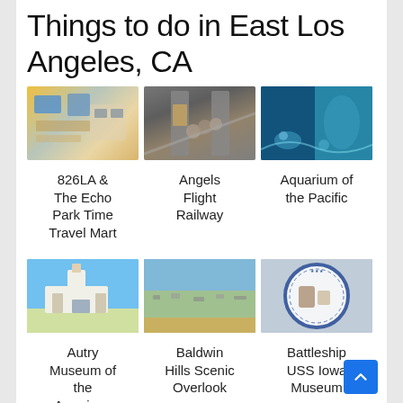Things to do in East Los Angeles, CA
[Figure (photo): Photo of 826LA & The Echo Park Time Travel Mart interior showing a colorful store]
[Figure (photo): Photo of Angels Flight Railway with people on the funicular]
[Figure (photo): Photo of Aquarium of the Pacific showing blue underwater scene]
826LA & The Echo Park Time Travel Mart
Angels Flight Railway
Aquarium of the Pacific
[Figure (photo): Photo of Autry Museum of the American West showing a white building with tower against blue sky]
[Figure (photo): Photo of Baldwin Hills Scenic Overlook showing aerial view of Los Angeles]
[Figure (photo): Photo of Battleship USS Iowa Museum showing circular badge/seal]
Autry Museum of the American West
Baldwin Hills Scenic Overlook
Battleship USS Iowa Museum